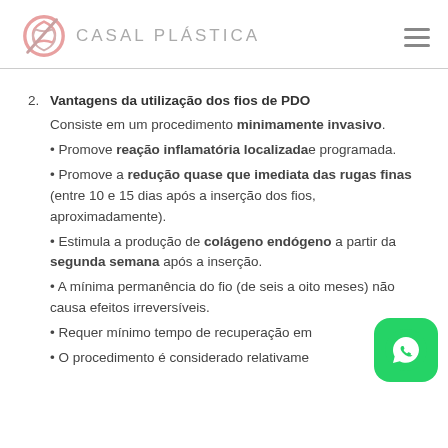CASAL PLASTICA
Vantagens da utilização dos fios de PDO
Consiste em um procedimento minimamente invasivo.
• Promove reação inflamatória localizada e programada.
• Promove a redução quase que imediata das rugas finas (entre 10 e 15 dias após a inserção dos fios, aproximadamente).
• Estimula a produção de colágeno endógeno a partir da segunda semana após a inserção.
• A mínima permanência do fio (de seis a oito meses) não causa efeitos irreversíveis.
• Requer mínimo tempo de recuperação em
• O procedimento é considerado relativamente